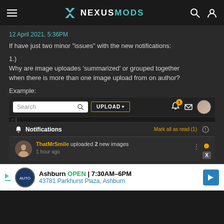NexusMods
12 April 2021, 5:36PM
If have just two minor "issues" with the new notifications:
1.)
Why are image uploades 'summarized' or grouped together when there is more than one image upload from on author?
Example:
[Figure (screenshot): Screenshot of NexusMods website showing the upload header bar with a notification popup open showing 'ThatMrSmile uploaded 2 new images, 1 hour ago']
[Figure (screenshot): Advertisement banner: Ashburn OPEN 7:30AM-6PM, 43781 Parkhurst Plaza, Ashburn]